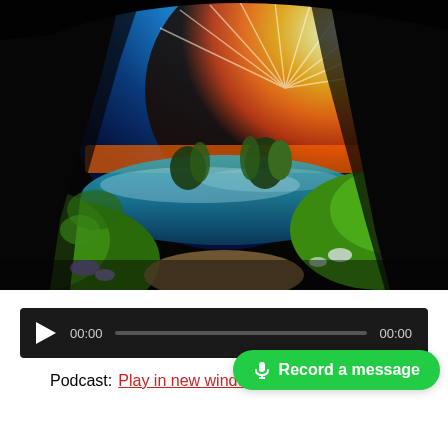[Figure (photo): View from inside a dark cave looking out at a dramatic landscape with a bright sunset/sunrise over a misty lake with trees, vivid blue sky, orange and yellow sunbeams, and lush green vegetation at the cave entrance.]
[Figure (other): Audio player widget with dark background, play button (triangle), time display showing 00:00, a progress/seek bar, and end time 00:00.]
Podcast: Play in new window | Download
Record a message